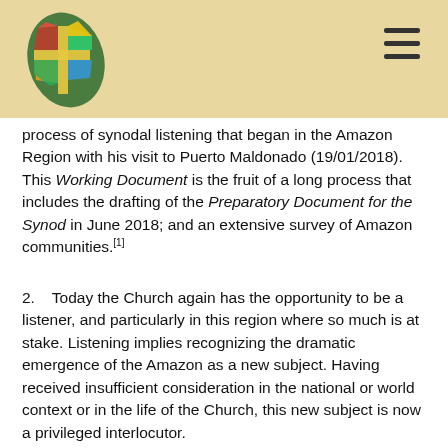[Figure (logo): Colorful stained-glass style cross/leaf logo in green, red, yellow, blue]
process of synodal listening that began in the Amazon Region with his visit to Puerto Maldonado (19/01/2018). This Working Document is the fruit of a long process that includes the drafting of the Preparatory Document for the Synod in June 2018; and an extensive survey of Amazon communities.[1]
2.   Today the Church again has the opportunity to be a listener, and particularly in this region where so much is at stake. Listening implies recognizing the dramatic emergence of the Amazon as a new subject. Having received insufficient consideration in the national or world context or in the life of the Church, this new subject is now a privileged interlocutor.